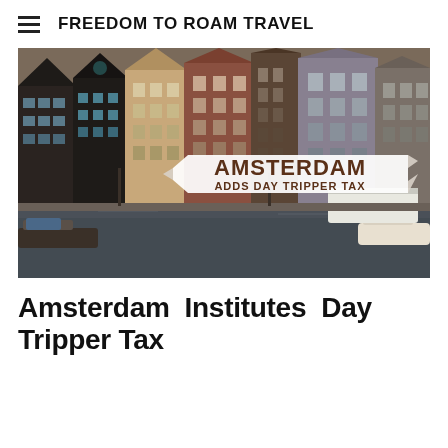FREEDOM TO ROAM TRAVEL
[Figure (photo): Photograph of Amsterdam canal with traditional Dutch gabled buildings reflected in the water, boats in foreground. Overlaid banner text reads: AMSTERDAM ADDS DAY TRIPPER TAX]
Amsterdam Institutes Day Tripper Tax